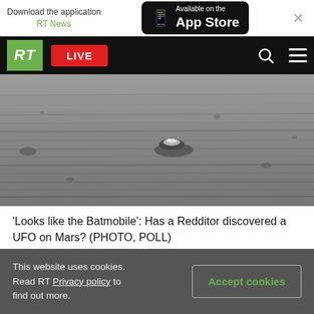Download the application RT News — Available on the App Store
RT LIVE
[Figure (photo): Black and white aerial or satellite photograph of a barren Mars-like landscape with a small dark object visible near the center of the image, surrounded by flat rocky terrain with subtle ridges and scattered small rocks.]
'Looks like the Batmobile': Has a Redditor discovered a UFO on Mars? (PHOTO, POLL)
This website uses cookies. Read RT Privacy policy to find out more.